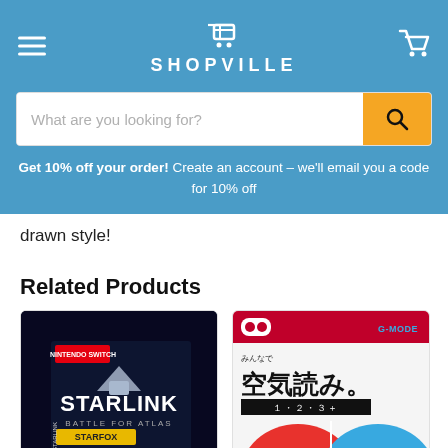SHOPVILLE
What are you looking for?
Get 10% off your order! Create an account – we'll email you a code for 10% off
drawn style!
Related Products
[Figure (photo): Starlink Battle for Atlas Nintendo Switch game box - collector edition with figurines]
[Figure (photo): G-Mode Nintendo Switch game cover - Japanese title '空気読み。1・2・3+' with illustrated faces in red and blue]